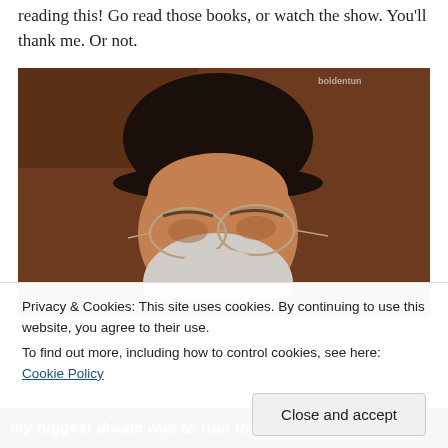reading this! Go read those books, or watch the show. You'll thank me. Or not.
[Figure (photo): A bearded older man wearing a black newsboy cap with a badge/pin, and wire-rimmed glasses, looking downward. Warm brown background. Watermark text visible in top right corner.]
Privacy & Cookies: This site uses cookies. By continuing to use this website, you agree to their use.
To find out more, including how to control cookies, see here: Cookie Policy
my biggest dream was to ruin the lives